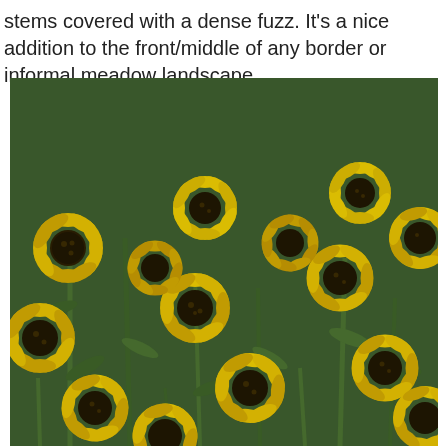stems covered with a dense fuzz. It's a nice addition to the front/middle of any border or informal meadow landscape.
[Figure (photo): A dense cluster of black-eyed Susan flowers (Rudbeckia) with bright yellow petals and dark brown/black centers, growing on green stems with narrow leaves.]